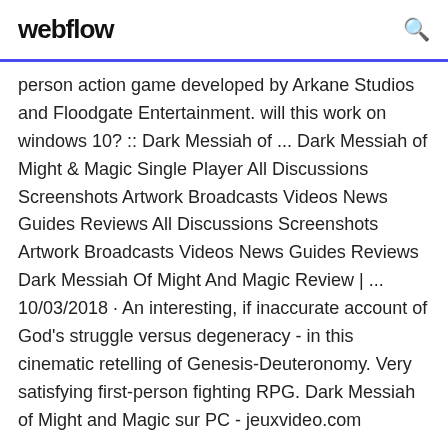webflow
person action game developed by Arkane Studios and Floodgate Entertainment. will this work on windows 10? :: Dark Messiah of ... Dark Messiah of Might & Magic Single Player All Discussions Screenshots Artwork Broadcasts Videos News Guides Reviews All Discussions Screenshots Artwork Broadcasts Videos News Guides Reviews Dark Messiah Of Might And Magic Review | ... 10/03/2018 · An interesting, if inaccurate account of God's struggle versus degeneracy - in this cinematic retelling of Genesis-Deuteronomy. Very satisfying first-person fighting RPG. Dark Messiah of Might and Magic sur PC - jeuxvideo.com